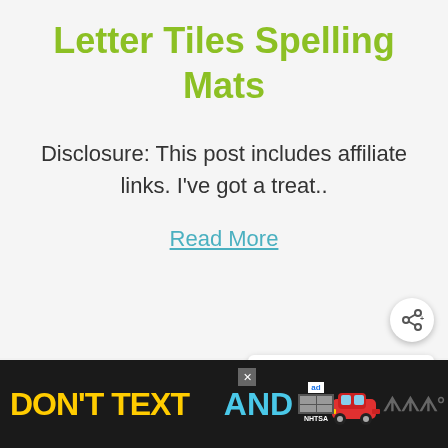Letter Tiles Spelling Mats
Disclosure: This post includes affiliate links. I've got a treat..
Read More
[Figure (other): Share icon button (circle with share symbol)]
[Figure (other): What's Next panel showing Ham, Egg, and Cheese... article thumbnail]
[Figure (other): DON'T TEXT AND [drive] - NHTSA advertisement banner with car emoji]